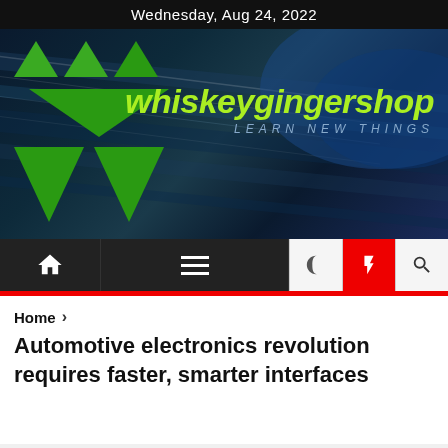Wednesday, Aug 24, 2022
[Figure (logo): whiskeygingershop website banner with green triangle logo and site name 'whiskeygingershop LEARN NEW THINGS' on dark blue background]
[Figure (infographic): Navigation bar with home icon, hamburger menu, moon icon, lightning bolt icon (red background), and search icon]
Home >
Automotive electronics revolution requires faster, smarter interfaces